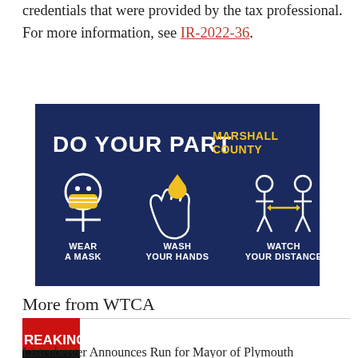credentials that were provided by the tax professional. For more information, see IR-2022-36.
[Figure (illustration): Do Your Part Marshall County infographic on dark navy blue background showing three icons: a person wearing a mask labeled WEAR A MASK, a hand washing with water drop labeled WASH YOUR HANDS, and two people with distance arrow labeled WATCH YOUR DISTANCE.]
More from WTCA
[Figure (photo): Breaking News thumbnail image with red background and white text reading REAKING NEWS]
Listenberger Announces Run for Mayor of Plymouth